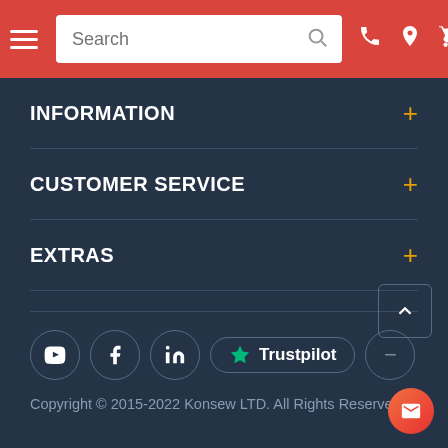Navigation bar with search, phone, location, and cart icons
INFORMATION
CUSTOMER SERVICE
EXTRAS
[Figure (screenshot): Social media icons row: YouTube, Facebook, LinkedIn, Trustpilot badge, and a small circle icon]
Copyright © 2015-2022 Konsew LTD. All Rights Reserved.